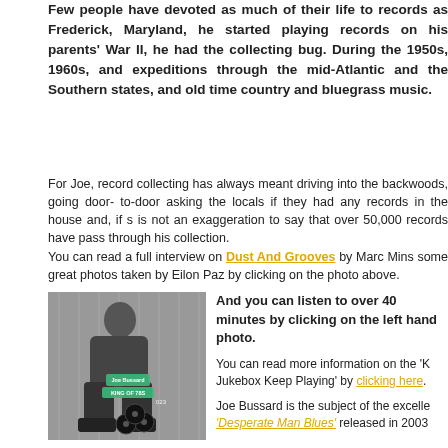Few people have devoted as much of their life to records as Frederick, Maryland, he started playing records on his parents' War II, he had the collecting bug. During the 1950s, 1960s, and expeditions through the mid-Atlantic and the Southern states, and old time country and bluegrass music.
For Joe, record collecting has always meant driving into the backwoods, going door-to-door asking the locals if they had any records in the house and, if so, buying them. It is not an exaggeration to say that over 50,000 records have passed through his collection.
You can read a full interview on Dust And Grooves by Marc Minsker with some great photos taken by Eilon Paz by clicking on the photo above.
[Figure (photo): Black and white photo of a man (Joe Bussard) sitting, with overlay labels including 'Joe Bussard' and 'KING OF 78s' and vinyl record graphics]
And you can listen to over 40 minutes by clicking on the left hand photo.
You can read more information on the 'Keep Jukebox Keep Playing' by clicking here.
Joe Bussard is the subject of the excellent 'Desperate Man Blues' released in 2003